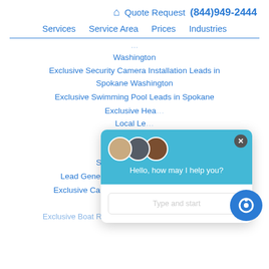🏠 Quote Request (844)949-2444
Services  Service Area  Prices  Industries
Washington
Exclusive Security Camera Installation Leads in Spokane Washington
Exclusive Swimming Pool Leads in Spokane
Exclusive Hea... [partially obscured]
Local Le... [partially obscured]
Exclusive... [partially obscured]
Exclusive Home... [partially obscured]
Spokane Washington
Lead Generation in Spokane Washington
Exclusive Carpet Cleaning Leads in Spokane Washington
Exclusive Boat Rental Leads in Spokane Washington
[Figure (screenshot): Chat widget overlay showing three avatar photos, 'Hello, how may I help you?' message in teal header, and 'Type and start' input field. Close button (X) in top right corner. Blue chat button icon in bottom right.]